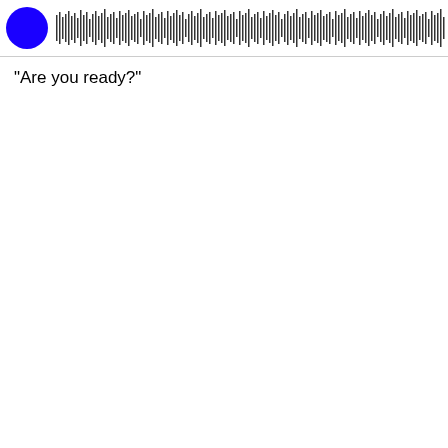[Figure (other): Audio player with blue circle icon on the left and a dense waveform visualization extending across the top]
"Are you ready?"